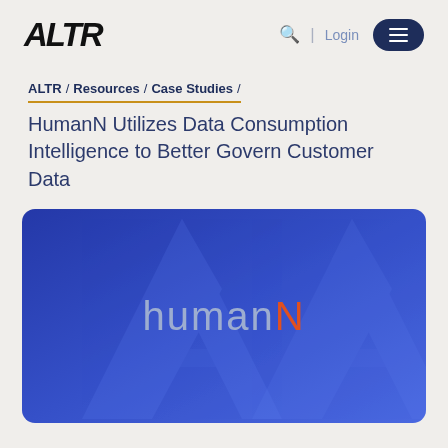ALTR | Login [Menu]
ALTR / Resources / Case Studies /
HumanN Utilizes Data Consumption Intelligence to Better Govern Customer Data
[Figure (logo): HumanN logo on a blue gradient background with large translucent A watermark shapes. Text reads 'humanN' with the N in orange/red.]